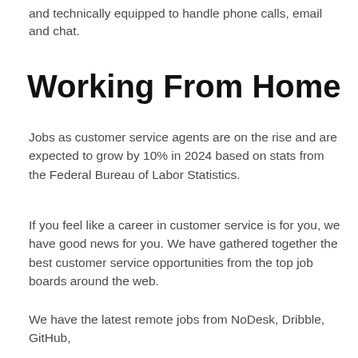and technically equipped to handle phone calls, email and chat.
Working From Home
Jobs as customer service agents are on the rise and are expected to grow by 10% in 2024 based on stats from the Federal Bureau of Labor Statistics.
If you feel like a career in customer service is for you, we have good news for you. We have gathered together the best customer service opportunities from the top job boards around the web.
We have the latest remote jobs from NoDesk, Dribble, GitHub,